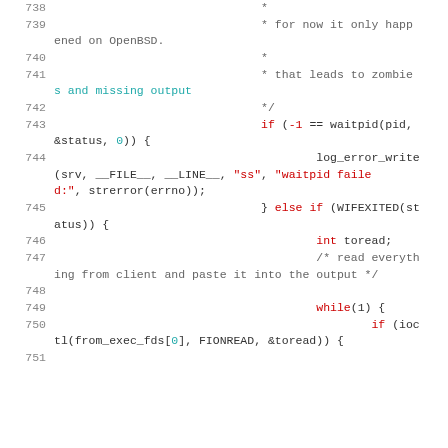Source code listing, lines 738-751, showing C code with comments about SIGCHILD error handling and waitpid/while loop logic.